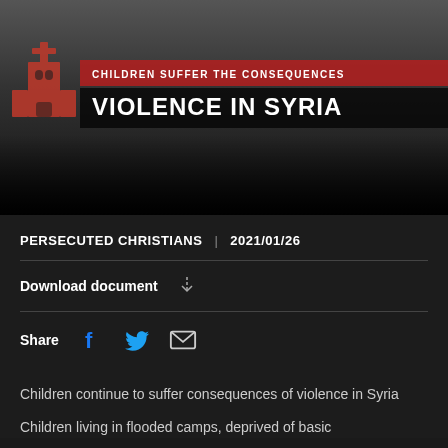[Figure (photo): Header banner image showing conflict/humanitarian scene with text overlay. Red bar with 'CHILDREN SUFFER THE CONSEQUENCES' above bold white title 'VIOLENCE IN SYRIA'. Church icon silhouette on left.]
PERSECUTED CHRISTIANS  |  2021/01/26
Download document
Share
Children continue to suffer consequences of violence in Syria
Children living in flooded camps, deprived of basic